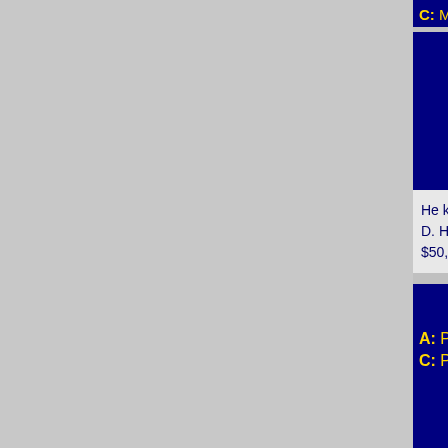C: Measure for Measure    D: The W
[Figure (screenshot): Lifeline icons row: 50:50 oval button and phone/audience lifeline icons on dark blue background]
He knows one is. He'll ask the audience. And after the audience votes... D. He knows it isn't B, and goes with the audience... A. $50,000.
What is the term for a common Internet sca... to trick you into giving out pe...
A: Phishing    B: Phrau...
C: Phixing    D: Phool...
[Figure (screenshot): Lifeline icons row: 50:50 oval button and phone/audience lifeline icons on dark blue background]
I know this because I'm tech-savvy. But is Chris? He... for his phone-a-friend Chad. "Phishing. 100%." Final... Now for the secured $100,000.
Which of these animal parts is also kno...
A: Elephant's trunk    B: Turtle...
C: Lion's mane    D: Deer's...